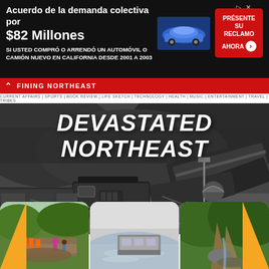[Figure (infographic): Advertisement banner in Spanish: 'Acuerdo de la demanda colectiva por $82 Millones - SI USTED COMPRO O ARRENDO UN AUTOMOVIL O CAMION NUEVO EN CALIFORNIA DESDE 2001 A 2003' with car image and 'PRESENTE SU RECLAMO AHORA' button]
DEFINING NORTHEAST
CURRENT AFFAIRS | SPORTS | BOOK REVIEW | LIFE SKETCH | TECHNOLOGY | HEALTH | MUSIC | ENTERTAINMENT | TRAVEL | TRIBES
DEVASTATED NORTHEAST
[Figure (photo): Black and white photograph showing a train derailed in muddy floodwater with debris, a figure with umbrella visible, and derailed train cars in the background]
[Figure (photo): Color photo showing workers/people near a damaged road with orange barriers after a landslide]
[Figure (photo): Color photo showing a flooded road or waterlogged area with a vehicle]
[Figure (photo): Color photo showing a landslide with green vegetation and damaged terrain]